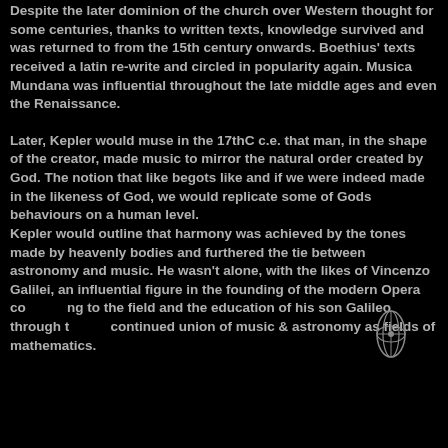Despite the later dominion of the church over Western thought for some centuries, thanks to written texts, knowledge survived and was returned to from the 15th century onwards. Boethius' texts received a latin re-write and circled in popularity again. Musica Mundana was influential throughout the late middle ages and even the Renaissance.
Later, Kepler would muse in the 17thC c.e. that man, in the shape of the creator, made music to mirror the natural order created by God. The notion that like begots like and if we were indeed made in the likeness of God, we would replicate some of Gods behaviours on a human level. Kepler would outline that harmony was achieved by the tones made by heavenly bodies and furthered the tie between astronomy and music. He wasn't alone, with the likes of Vincenzo Galilei, an influential figure in the founding of the modern Opera contributing to the field and the education of his son Galileo through the continued union of music & astronomy as fields of mathematics.